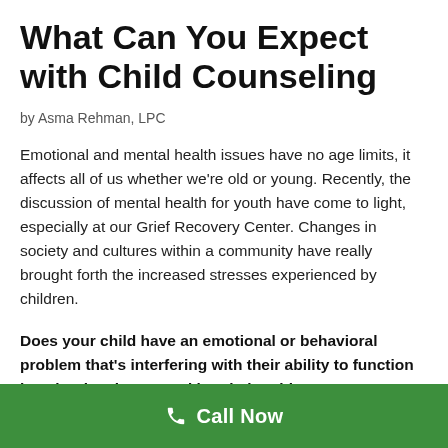What Can You Expect with Child Counseling
by Asma Rehman, LPC
Emotional and mental health issues have no age limits, it affects all of us whether we're old or young. Recently, the discussion of mental health for youth have come to light, especially at our Grief Recovery Center. Changes in society and cultures within a community have really brought forth the increased stresses experienced by children.
Does your child have an emotional or behavioral problem that's interfering with their ability to function in school, at home, and in relationships? Here are some signs that your child may need therapy
Call Now